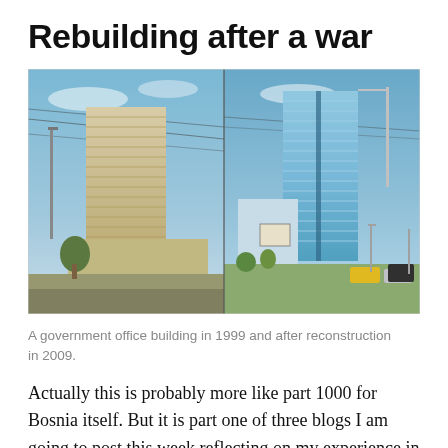Rebuilding after a war
[Figure (photo): Side-by-side comparison: a government office building in 1999 (left, older concrete building) and after reconstruction in 2009 (right, modern glass-clad building), with street scenes below each.]
A government office building in 1999 and after reconstruction in 2009.
Actually this is probably more like part 1000 for Bosnia itself. But it is part one of three blogs I am going to post this week reflecting on my experience in Bosnia in the past several years. The opening of the Winter Olympics in